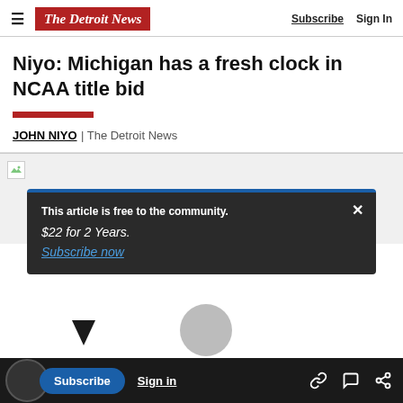The Detroit News | Subscribe  Sign In
Niyo: Michigan has a fresh clock in NCAA title bid
JOHN NIYO  |  The Detroit News
[Figure (photo): Article image (broken/not loaded)]
This article is free to the community.
$22 for 2 Years.
Subscribe now
Subscribe  Sign in